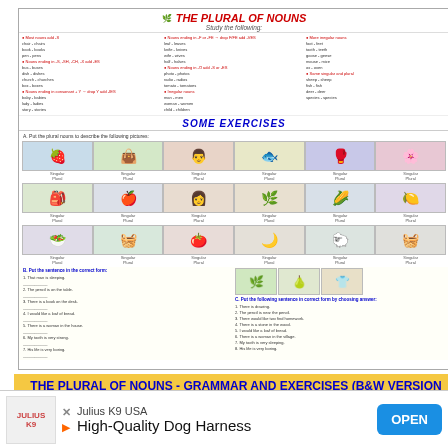[Figure (illustration): Educational worksheet thumbnail showing 'THE PLURAL OF NOUNS' grammar chart with colorful sections, rules columns, and exercise pictures of objects and people]
THE PLURAL OF NOUNS - GRAMMAR AND EXERCISES (B&W VERSION INCLUDED)
Level: elementary
Age: 10-12
Downloads: 1072
[Figure (screenshot): Video player overlay showing a dark space/planet image with a white play button triangle in the center, and a 'Comments:' heading visible at top]
Comments:
Thank you fo
[Figure (photo): Advertisement banner: Julius K9 USA, High-Quality Dog Harness, with OPEN button, logo on left with X and play icons]
Julius K9 USA
High-Quality Dog Harness